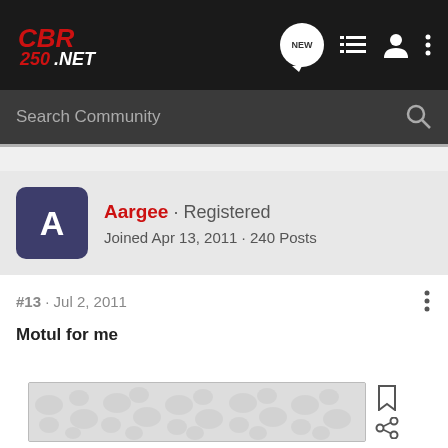[Figure (logo): CBR250.NET logo in red and white on dark background]
Search Community
Aargee · Registered
Joined Apr 13, 2011 · 240 Posts
#13 · Jul 2, 2011
Motul for me
[Figure (other): Advertisement banner with grey circular pattern design]